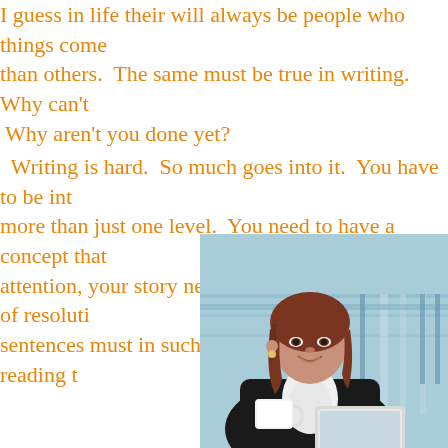I guess in life their will always be people who things come more easily to than others. The same must be true in writing. Why can't I write faster? Why aren't you done yet?
Writing is hard. So much goes into it. You have to be interesting on more than just one level. You need to have a concept that captures attention, your story needs to build to some kind of resolution, and your sentences must in such a way that reader enjoys reading them.
[Figure (photo): A smiling businesswoman with shoulder-length auburn hair, wearing a black blazer and white blouse, holding a white coffee cup in her left hand and using a laptop, photographed in an office or cafe setting with blurred blue-tinted background.]